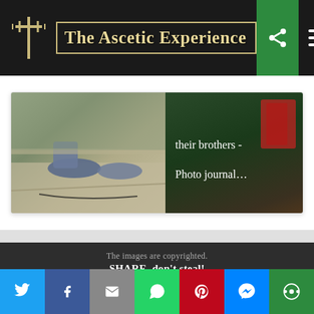The Ascetic Experience
[Figure (photo): Two photos side by side: left shows feet/shoes on concrete steps, right shows cigarette packs with text 'their brothers - Photo journal...']
their brothers - Photo journal…
The images are copyrighted.
SHARE, don't steal!
Contact us.
[Figure (logo): Get it on Google Play button with Google Play logo]
[Figure (infographic): Social sharing bar with Twitter, Facebook, Email, WhatsApp, Pinterest, Messenger, and other icons]